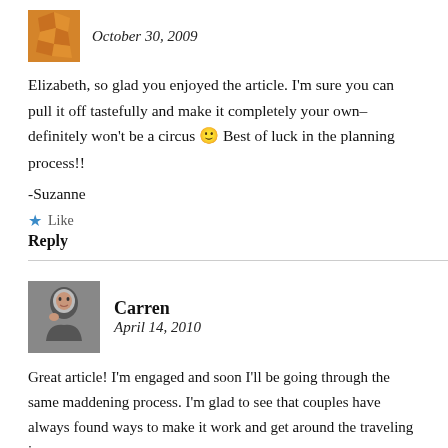October 30, 2009
Elizabeth, so glad you enjoyed the article. I'm sure you can pull it off tastefully and make it completely your own–definitely won't be a circus 🙂 Best of luck in the planning process!!
-Suzanne
★ Like
Reply
Carren
April 14, 2010
Great article! I'm engaged and soon I'll be going through the same maddening process. I'm glad to see that couples have always found ways to make it work and get around the traveling issue.
My sister is also getting married soon and there's a strong possibility